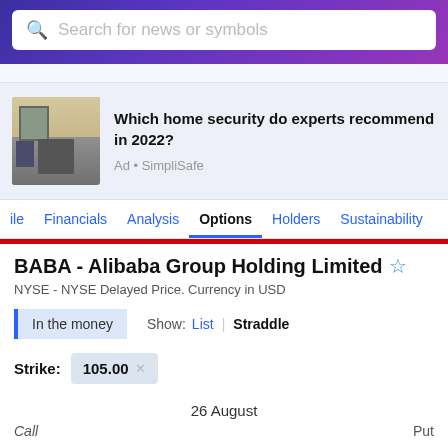Search for news or symbols
[Figure (photo): Home interior with fireplace and living room furniture]
Which home home security do experts recommend in 2022? Ad • SimpliSafe
ile  Financials  Analysis  Options  Holders  Sustainability
BABA - Alibaba Group Holding Limited
NYSE - NYSE Delayed Price. Currency in USD
In the money   Show: List | Straddle
Strike: 105.00
26 August